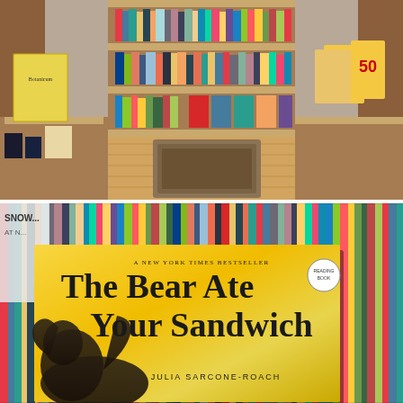[Figure (photo): Interior of a children's bookstore with wooden shelves filled with colorful books, display tables with books facing outward including 'Botanicum', a patterned area rug on a wooden floor, brick walls visible on the sides.]
[Figure (photo): Close-up of the book 'The Bear Ate Your Sandwich' by Julia Sarcone-Roach, a New York Times Bestseller, with yellow cover and bear silhouette illustration, propped against a background of colorful books on a shelf viewed from the side/spine.]